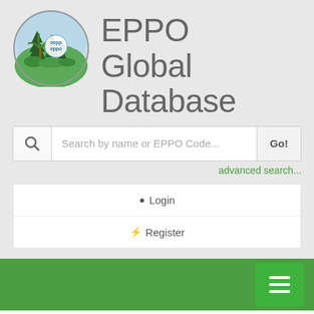[Figure (logo): EPPO/OEPP circular logo with stylized trees (conifer, palm) and blue sky, text 'oepp eppo' in center circle]
EPPO Global Database
Search by name or EPPO Code...
advanced search...
Login
Register
Yponomeuta malinella (HYPNMA)